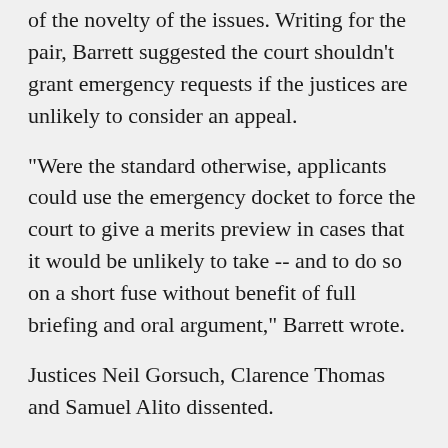of the novelty of the issues. Writing for the pair, Barrett suggested the court shouldn't grant emergency requests if the justices are unlikely to consider an appeal.
“Were the standard otherwise, applicants could use the emergency docket to force the court to give a merits preview in cases that it would be unlikely to take -- and to do so on a short fuse without benefit of full briefing and oral argument,” Barrett wrote.
Justices Neil Gorsuch, Clarence Thomas and Samuel Alito dissented.
“Health-care workers who have served on the front line of a pandemic for the last 18 months are now being fired and their practices shuttered,” Gorsuch wrote for the group. “All for adhering to their constitutionally protected religious beliefs. Their plight is worthy of our attention.”